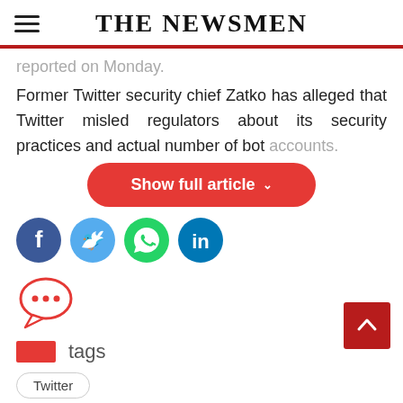THE NEWSMEN
reported on Monday.
Former Twitter security chief Zatko has alleged that Twitter misled regulators about its security practices and actual number of bot accounts.
[Figure (other): Show full article button — red rounded pill button with white text and chevron]
[Figure (other): Social share icons: Facebook (dark blue), Twitter (light blue), WhatsApp (green), LinkedIn (dark teal)]
[Figure (other): Comment speech bubble icon in red outline with three dots]
tags
Twitter